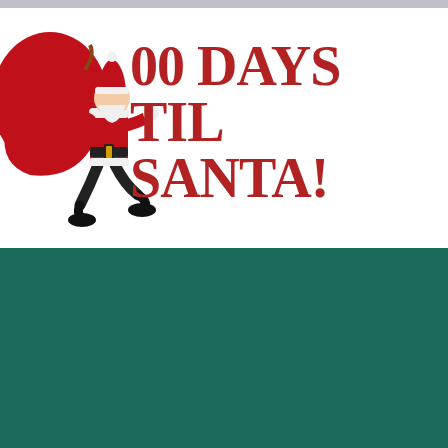00 DAYS TIL SANTA!
[Figure (illustration): Santa Claus running and carrying a large red sack/bag, dressed in red suit with white trim and black boots]
VISIT CHRISTMAS KINGDOM
MENTONE
219-221 Nepean Hwy
Mentone VIC 3194
03 9587 1566
Closed for the 2021 season and reopening June 2022